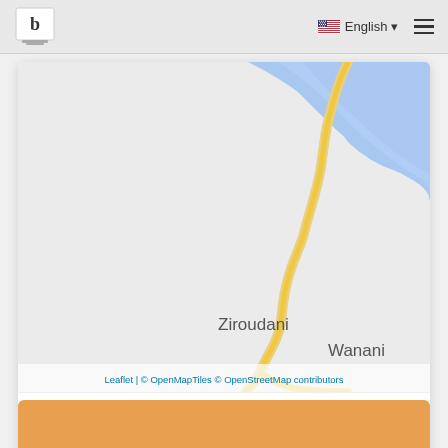b logo | English menu
[Figure (map): Geographic map showing Ziroudani and Wanani regions with a winding yellow road/river and blue water body in upper right. Attribution: Leaflet | © OpenMapTiles © OpenStreetMap contributors]
| # | Name | Distance |
| --- | --- | --- |